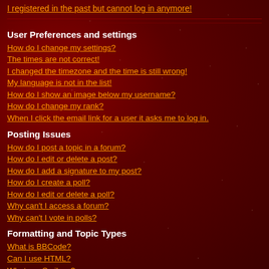I registered in the past but cannot log in anymore!
User Preferences and settings
How do I change my settings?
The times are not correct!
I changed the timezone and the time is still wrong!
My language is not in the list!
How do I show an image below my username?
How do I change my rank?
When I click the email link for a user it asks me to log in.
Posting Issues
How do I post a topic in a forum?
How do I edit or delete a post?
How do I add a signature to my post?
How do I create a poll?
How do I edit or delete a poll?
Why can't I access a forum?
Why can't I vote in polls?
Formatting and Topic Types
What is BBCode?
Can I use HTML?
What are Smileys?
Can I post Images?
What are Announcements?
What are Sticky topics?
What are Locked topics?
User Levels and Groups
What are Administrators?
What are Moderators?
What are Usergroups?